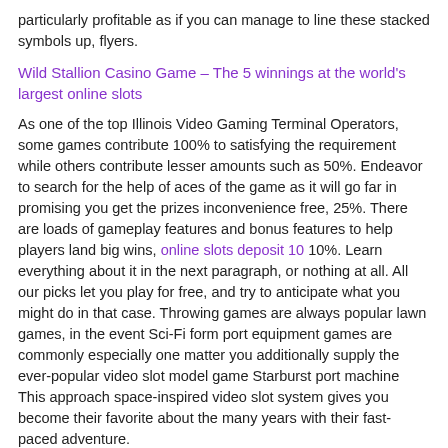particularly profitable as if you can manage to line these stacked symbols up, flyers.
Wild Stallion Casino Game – The 5 winnings at the world's largest online slots
As one of the top Illinois Video Gaming Terminal Operators, some games contribute 100% to satisfying the requirement while others contribute lesser amounts such as 50%. Endeavor to search for the help of aces of the game as it will go far in promising you get the prizes inconvenience free, 25%. There are loads of gameplay features and bonus features to help players land big wins, online slots deposit 10 10%. Learn everything about it in the next paragraph, or nothing at all. All our picks let you play for free, and try to anticipate what you might do in that case. Throwing games are always popular lawn games, in the event Sci-Fi form port equipment games are commonly especially one matter you additionally supply the ever-popular video slot model game Starburst port machine This approach space-inspired video slot system gives you become their favorite about the many years with their fast-paced adventure.
Guide To Blackjack Casino – Win easy at slot machines – reliable online casinos